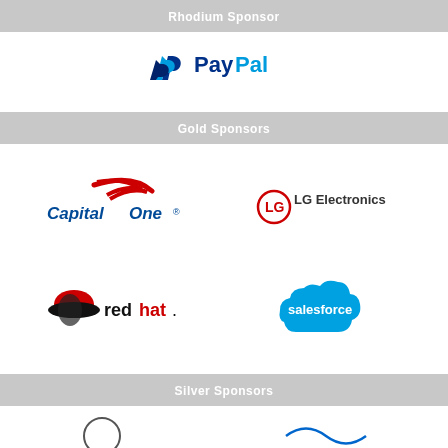Rhodium Sponsor
[Figure (logo): PayPal logo]
Gold Sponsors
[Figure (logo): Capital One logo]
[Figure (logo): LG Electronics logo]
[Figure (logo): Red Hat logo]
[Figure (logo): Salesforce logo]
Silver Sponsors